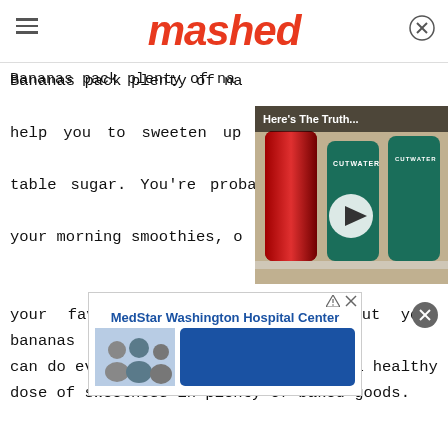mashed
Bananas pack plenty of natural sugars that can help you to sweeten up your food without using table sugar. You're probably already adding it to your morning smoothies, or maybe you like it on your favorite breakfast cereal. But your bananas can do even more for you, giving you a healthy dose of sweetness in plenty of baked goods.
[Figure (screenshot): Video overlay showing Cutwater brand canned drinks with play button and title 'Here's The Truth...']
[Figure (screenshot): Advertisement for MedStar Washington Hospital Center with image of people and blue button]